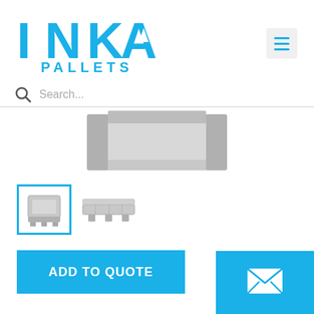[Figure (logo): INKA PALLETS logo in blue with bold INKA text and PALLETS below]
[Figure (other): Hamburger menu icon (three horizontal lines) in a light gray square button]
Search...
[Figure (photo): Partial top view of a gray plastic pallet box/container]
[Figure (photo): Thumbnail of gray plastic folding pallet box (selected, blue border)]
[Figure (photo): Thumbnail of gray plastic pallet (flat/folded view)]
ADD TO QUOTE
[Figure (other): Blue mail/envelope icon button in bottom right corner]